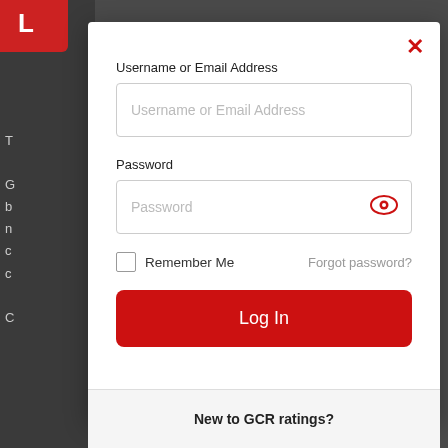[Figure (screenshot): Login modal dialog over a dark website background. Contains username/email field, password field with eye icon, remember me checkbox, forgot password link, and Log In button. Footer shows 'New to GCR ratings?']
Username or Email Address
Password
Remember Me
Forgot password?
Log In
New to GCR ratings?